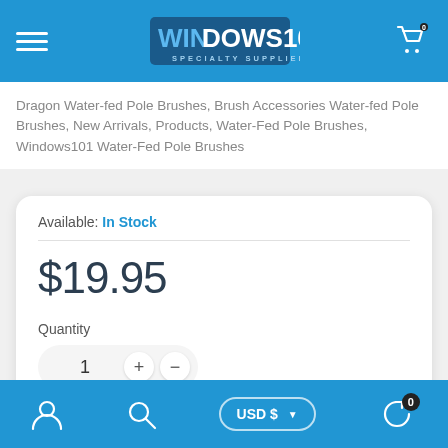[Figure (logo): Windows101 Specialty Supplier logo on blue header bar with hamburger menu and shopping cart icon]
Dragon Water-fed Pole Brushes, Brush Accessories Water-fed Pole Brushes, New Arrivals, Products, Water-Fed Pole Brushes, Windows101 Water-Fed Pole Brushes
Available: In Stock
$19.95
Quantity
1
Size
[Figure (screenshot): Bottom navigation bar with user icon, search icon, USD $ currency selector, and reload/cart icon with badge 0]